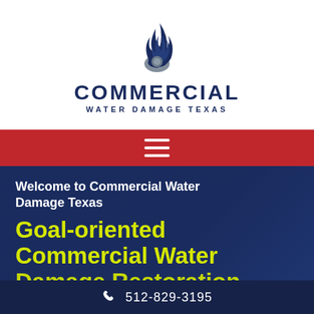[Figure (logo): Commercial Water Damage Texas logo: flame/water drop icon in dark blue and grey above the brand name]
COMMERCIAL
WATER DAMAGE TEXAS
[Figure (other): Red navigation bar with white hamburger menu icon]
Welcome to Commercial Water Damage Texas
Goal-oriented Commercial Water Damage Restoration
512-829-3195